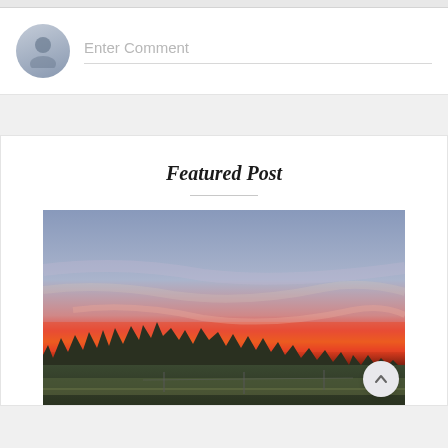Enter Comment
Featured Post
[Figure (photo): Outdoor sunset photo showing a vivid pink and orange horizon with silhouetted trees against a blue-purple sky and open field in the foreground.]